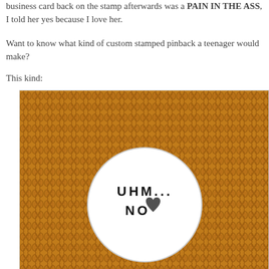business card back on the stamp afterwards was a PAIN IN THE ASS, I told her yes because I love her.
Want to know what kind of custom stamped pinback a teenager would make?
This kind:
[Figure (photo): A white circular pinback button resting on an orange/brown knit fabric background. The button reads 'UHM... NO' with a small stamped heart next to 'NO'.]